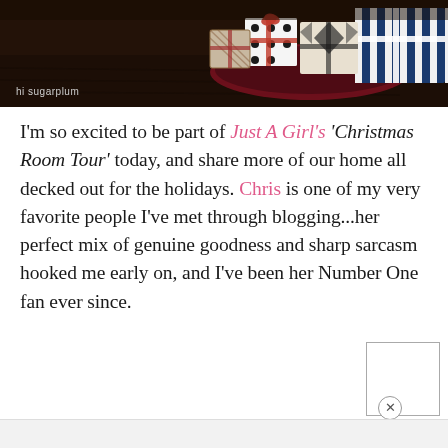[Figure (photo): Dark background photo showing wrapped Christmas gift boxes with patterned wrapping paper (black and white dots, stripes, geometric patterns) on a dark wooden surface. Watermark 'hi sugarplum' in bottom left.]
I'm so excited to be part of Just A Girl's 'Christmas Room Tour' today, and share more of our home all decked out for the holidays. Chris is one of my very favorite people I've met through blogging...her perfect mix of genuine goodness and sharp sarcasm hooked me early on, and I've been her Number One fan ever since.